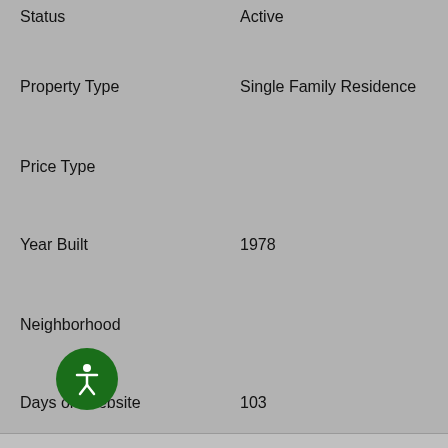| Field | Value |
| --- | --- |
| Status | Active |
| Property Type | Single Family Residence |
| Price Type |  |
| Year Built | 1978 |
| Neighborhood |  |
| Days on Website | 103 |
[Figure (screenshot): Property photo carousel with broken image placeholders showing 'Property Photo' alt text, with left and right navigation arrows]
[Figure (logo): Green circular accessibility (PageAssist) button with white wheelchair/person icon]